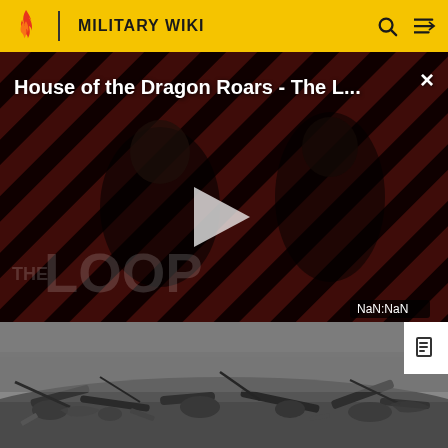MILITARY WIKI
[Figure (screenshot): Video player showing 'House of the Dragon Roars - The L...' with diagonal red and black striped background, two shadowed figures, play button in center, THE LOOP watermark, and NaN:NaN timestamp.]
[Figure (photo): Black and white photograph of a war scene showing rubble, debris, logs, and scattered materials on the ground near a waterway.]